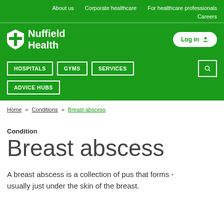About us   Corporate healthcare   For healthcare professionals   Careers
[Figure (logo): Nuffield Health logo with shield icon and white text on green background, with Log in button]
HOSPITALS   GYMS   SERVICES   ADVICE HUBS
Home » Conditions » Breast abscess
Condition
Breast abscess
A breast abscess is a collection of pus that forms - usually just under the skin of the breast.